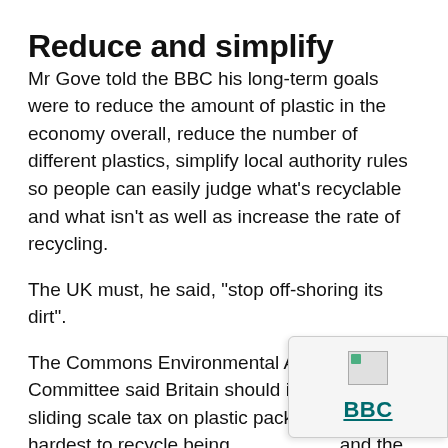Reduce and simplify
Mr Gove told the BBC his long-term goals were to reduce the amount of plastic in the economy overall, reduce the number of different plastics, simplify local authority rules so people can easily judge what’s recyclable and what isn’t as well as increase the rate of recycling.
The UK must, he said, “stop off-shoring its dirt”.
The Commons Environmental Audit Committee said Britain should introduce a sliding scale tax on plastic packaging with the hardest to recycle being [charged more] and the easiest to recycle being charged le[ss].
There is broad agreement over much of th[is] it is not yet clear how the UK will achieve th[ese] goal – or how it will solve its short-term China crisis.
[Figure (logo): BBC logo overlay box in bottom-right corner with a small broken image placeholder and BBC text in teal/green color]